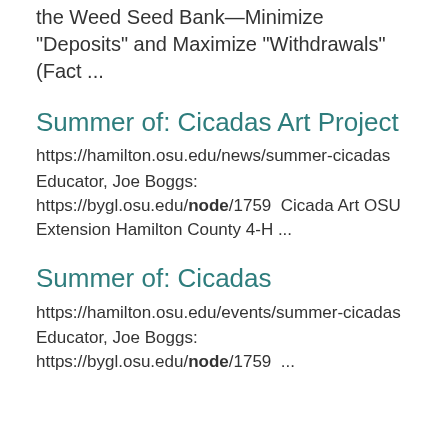https://eorganism.org/edu/... Manage the Weed Seed Bank—Minimize "Deposits" and Maximize "Withdrawals" (Fact ...
Summer of: Cicadas Art Project
https://hamilton.osu.edu/news/summer-cicadas Educator, Joe Boggs: https://bygl.osu.edu/node/1759  Cicada Art OSU Extension Hamilton County 4-H ...
Summer of: Cicadas
https://hamilton.osu.edu/events/summer-cicadas Educator, Joe Boggs: https://bygl.osu.edu/node/1759  ...